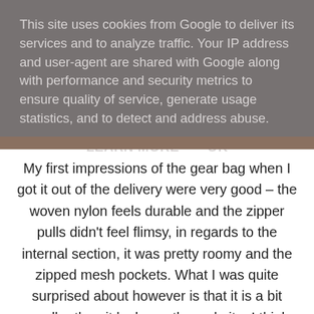This site uses cookies from Google to deliver its services and to analyze traffic. Your IP address and user-agent are shared with Google along with performance and security metrics to ensure quality of service, generate usage statistics, and to detect and address abuse.
LEARN MORE   OK
[Figure (photo): Partial photo strip visible behind cookie overlay showing a dark bag or gear item]
My first impressions of the gear bag when I got it out of the delivery were very good – the woven nylon feels durable and the zipper pulls didn't feel flimsy, in regards to the internal section, it was pretty roomy and the zipped mesh pockets. What I was quite surprised about however is that it is a bit smaller than it looks on the website, I think this could be easily solved by Valken providing the dimensions of the bag on the website. The branding on the bag is on point too.